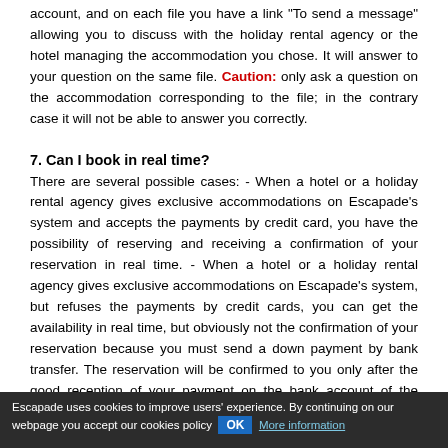account, and on each file you have a link "To send a message" allowing you to discuss with the holiday rental agency or the hotel managing the accommodation you chose. It will answer to your question on the same file. Caution: only ask a question on the accommodation corresponding to the file; in the contrary case it will not be able to answer you correctly.
7. Can I book in real time?
There are several possible cases: - When a hotel or a holiday rental agency gives exclusive accommodations on Escapade's system and accepts the payments by credit card, you have the possibility of reserving and receiving a confirmation of your reservation in real time. - When a hotel or a holiday rental agency gives exclusive accommodations on Escapade's system, but refuses the payments by credit cards, you can get the availability in real time, but obviously not the confirmation of your reservation because you must send a down payment by bank transfer. The reservation will be confirmed to you only after the good reception of your payment on the bank account of the supplier. - Lastly, when the supplier does not allocate any accommodation on the website, you must first send a request of availability, await for an answer of the property
Escapade uses cookies to improve users' experience. By continuing on our webpage you accept our cookies policy  OK  More information